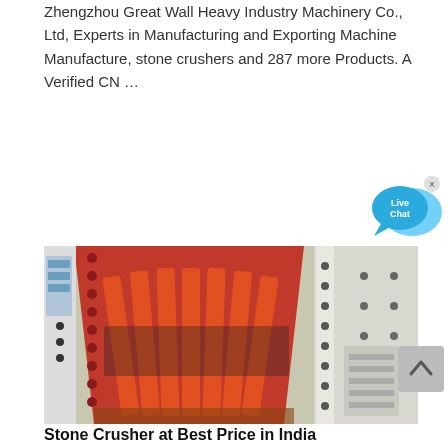Zhengzhou Great Wall Heavy Industry Machinery Co., Ltd, Experts in Manufacturing and Exporting Machine Manufacture, stone crushers and 287 more Products. A Verified CN …
[Figure (illustration): Live Chat button — two overlapping speech bubbles in cyan/blue with 'Live Chat' text and a close (×) icon]
[Figure (photo): Industrial stone crusher machine with red interior frame and metal grate bars, white exterior casing with bolt holes, photographed from above at an angle]
[Figure (illustration): Scroll-to-top button (grey rounded rectangle with upward chevron arrow)]
Stone Crusher at Best Price in India